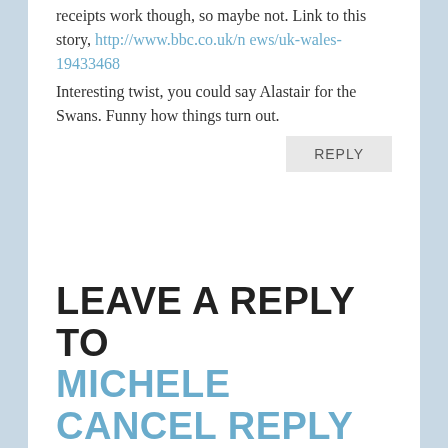receipts work though, so maybe not. Link to this story, http://www.bbc.co.uk/news/uk-wales-19433468
Interesting twist, you could say Alastair for the Swans. Funny how things turn out.
REPLY
LEAVE A REPLY TO MICHELE CANCEL REPLY